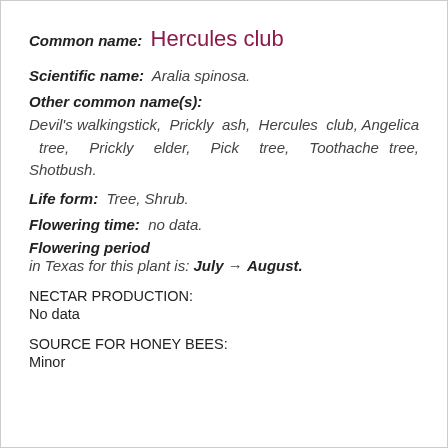Common name: Hercules club
Scientific name: Aralia spinosa.
Other common name(s):
Devil's walkingstick, Prickly ash, Hercules club, Angelica tree, Prickly elder, Pick tree, Toothache tree, Shotbush.
Life form: Tree, Shrub.
Flowering time: no data.
Flowering period
in Texas for this plant is: July → August.
NECTAR PRODUCTION:
No data
SOURCE FOR HONEY BEES:
Minor